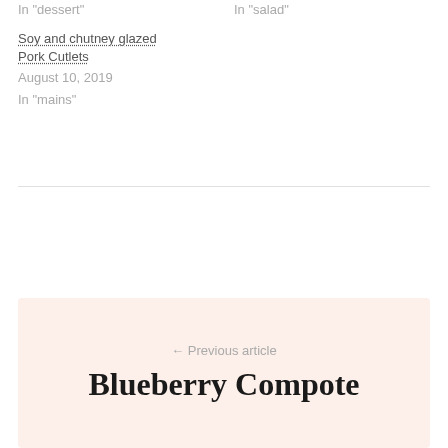In "dessert"
In "salad"
Soy and chutney glazed Pork Cutlets
August 10, 2019
In "mains"
← Previous article
Blueberry Compote